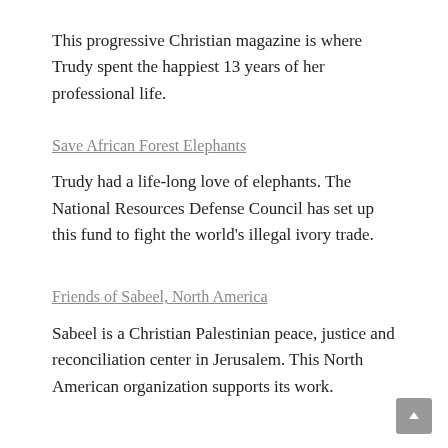This progressive Christian magazine is where Trudy spent the happiest 13 years of her professional life.
Save African Forest Elephants
Trudy had a life-long love of elephants. The National Resources Defense Council has set up this fund to fight the world's illegal ivory trade.
Friends of Sabeel, North America
Sabeel is a Christian Palestinian peace, justice and reconciliation center in Jerusalem. This North American organization supports its work.